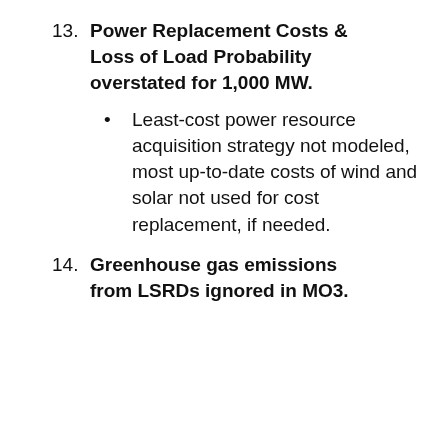13. Power Replacement Costs & Loss of Load Probability overstated for 1,000 MW.
Least-cost power resource acquisition strategy not modeled, most up-to-date costs of wind and solar not used for cost replacement, if needed.
14. Greenhouse gas emissions from LSRDs ignored in MO3.